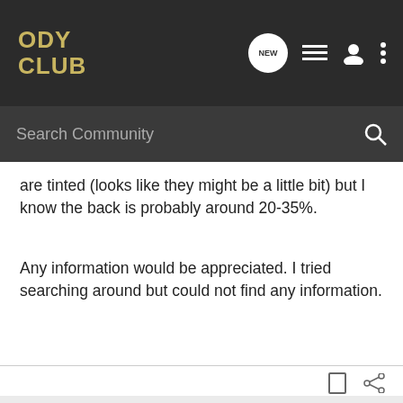ODY CLUB
are tinted (looks like they might be a little bit) but I know the back is probably around 20-35%.
Any information would be appreciated. I tried searching around but could not find any information.
psu ody fan · Registered
Joined Jul 18, 2003 · 3,974 Posts
#2 · Jun 23, 2011
I'm not 100% positive, but I believe it is in the neighborhood of 20%. I have my front doors tinted to 35%, and they are slightly